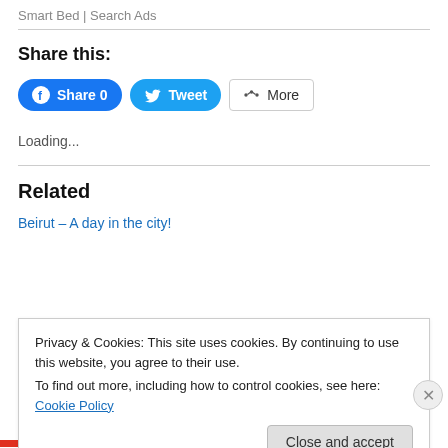Smart Bed | Search Ads
Share this:
Loading...
Related
Beirut – A day in the city!
Privacy & Cookies: This site uses cookies. By continuing to use this website, you agree to their use.
To find out more, including how to control cookies, see here: Cookie Policy
Close and accept